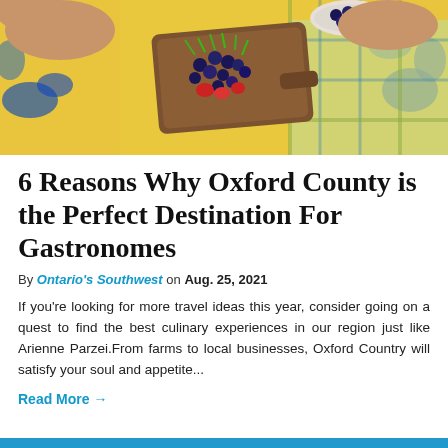[Figure (photo): Aerial/overhead view of a person lying on a colorful yellow floral blanket with a wooden cutting board topped with blueberries, strawberries, and green herbs/microgreens, with a bowl of blueberries nearby.]
6 Reasons Why Oxford County is the Perfect Destination For Gastronomes
By Ontario's Southwest on Aug. 25, 2021
If you're looking for more travel ideas this year, consider going on a quest to find the best culinary experiences in our region just like Arienne Parzei.From farms to local businesses, Oxford Country will satisfy your soul and appetite...
Read More →